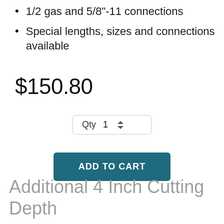1/2 gas and 5/8"-11 connections
Special lengths, sizes and connections available
$150.80
Qty 1
ADD TO CART
Additional 4 Inch Cutting Depth